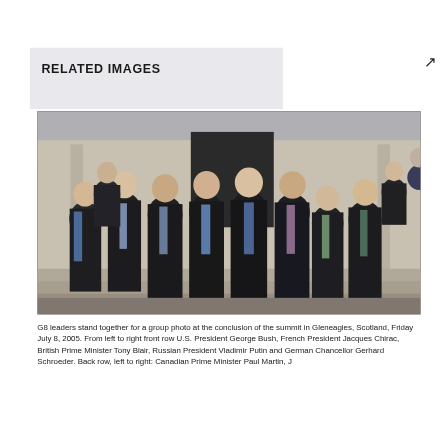RELATED IMAGES
[Figure (photo): Group photo of G8 leaders standing together at the conclusion of the summit in Gleneagles, Scotland, Friday July 8, 2005. Multiple men in dark suits posed in two rows in front of a building entrance.]
G8 leaders stand together for a group photo at the conclusion of the summit in Gleneagles, Scotland, Friday July 8, 2005. From left to right front row U.S. President George Bush, French President Jacques Chirac, British Prime Minister Tony Blair, Russian President Vladimir Putin and German Chancellor Gerhard Schroeder. Back row, left to right: Canadian Prime Minister Paul Martin, J...